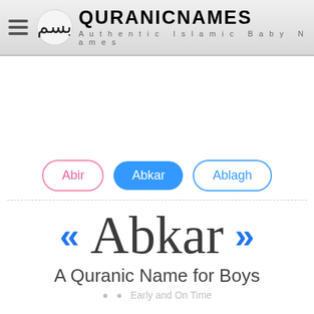QURANICNAMES — Authentic Islamic Baby Names
[Figure (screenshot): Website header with hamburger menu, Arabic calligraphy logo, and site name QURANICNAMES with tagline Authentic Islamic Baby Names]
Abir | Abkar | Ablagh
Abkar
A Quranic Name for Boys
Early and On Time